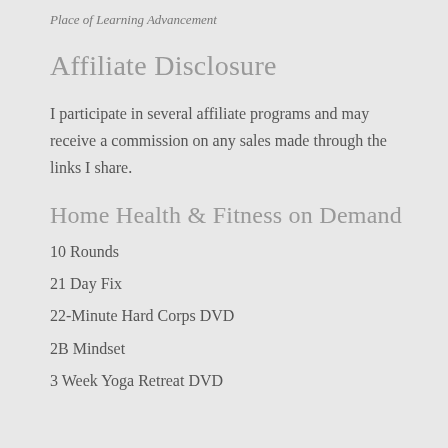Place of Learning Advancement
Affiliate Disclosure
I participate in several affiliate programs and may receive a commission on any sales made through the links I share.
Home Health & Fitness on Demand
10 Rounds
21 Day Fix
22-Minute Hard Corps DVD
2B Mindset
3 Week Yoga Retreat DVD